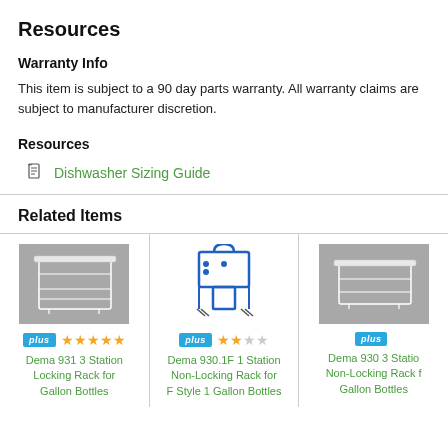Resources
Warranty Info
This item is subject to a 90 day parts warranty. All warranty claims are subject to manufacturer discretion.
Resources
Dishwasher Sizing Guide
Related Items
[Figure (photo): Dema 931 3 Station Locking Rack for Gallon Bottles - white wire rack product photo on gray background]
[Figure (photo): Dema 930.1F 1 Station Non-Locking Rack for F Style 1 Gallon Bottles - blue metal rack product photo]
[Figure (photo): Dema 930 3 Station Non-Locking Rack for Gallon Bottles - white wire rack product photo on gray background]
Dema 931 3 Station Locking Rack for Gallon Bottles
Dema 930.1F 1 Station Non-Locking Rack for F Style 1 Gallon Bottles
Dema 930 3 Station Non-Locking Rack for Gallon Bottles